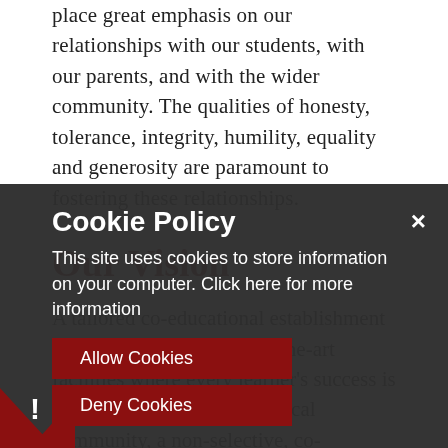place great emphasis on our relationships with our students, with our parents, and with the wider community. The qualities of honesty, tolerance, integrity, humility, equality and generosity are paramount to fostering these relationships.
Our Vision
A tailored co-educational establishment on a new site with state-of-the-art facilities where every learner's success is celebrated. At the heart of local community, a non-selective, co-educational site, promoting innovation in competitive live setting, adding value to students' educational experience. We continue to work with local authority and partners in education, health and other agencies to realise this vision.
Cookie Policy
This site uses cookies to store information on your computer. Click here for more information
[Allow Cookies] [Deny Cookies] [×]